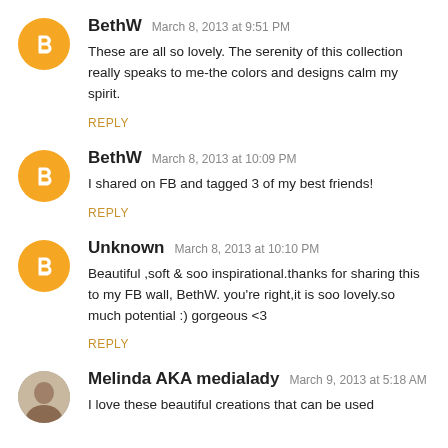BethW  March 8, 2013 at 9:51 PM
These are all so lovely. The serenity of this collection really speaks to me-the colors and designs calm my spirit.
REPLY
BethW  March 8, 2013 at 10:09 PM
I shared on FB and tagged 3 of my best friends!
REPLY
Unknown  March 8, 2013 at 10:10 PM
Beautiful ,soft & soo inspirational.thanks for sharing this to my FB wall, BethW. you're right,it is soo lovely.so much potential :) gorgeous <3
REPLY
Melinda AKA medialady  March 9, 2013 at 5:18 AM
I love these beautiful creations that can be used